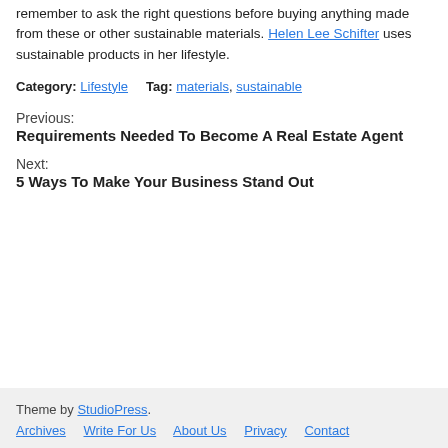remember to ask the right questions before buying anything made from these or other sustainable materials. Helen Lee Schifter uses sustainable products in her lifestyle.
Category: Lifestyle   Tag: materials, sustainable
Previous:
Requirements Needed To Become A Real Estate Agent
Next:
5 Ways To Make Your Business Stand Out
Theme by StudioPress. Archives  Write For Us  About Us  Privacy  Contact